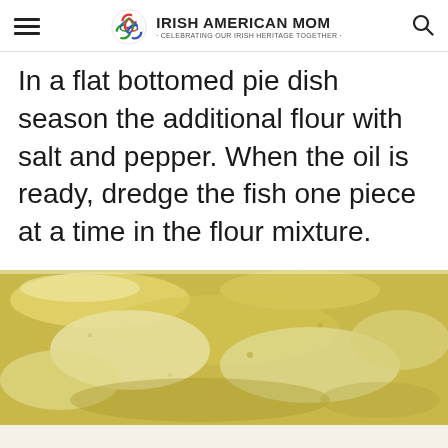Irish American Mom - Celebrating Our Irish Heritage Together
In a flat bottomed pie dish season the additional flour with salt and pepper. When the oil is ready, dredge the fish one piece at a time in the flour mixture.
[Figure (photo): Close-up photo of fish being dredged in seasoned flour mixture in a flat-bottomed pie dish, showing yellowish-white floured fish pieces]